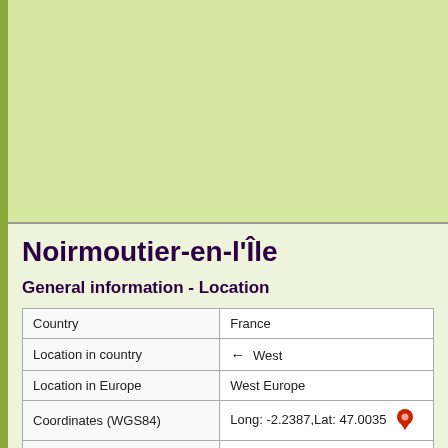[Figure (map): Map area showing geographic region with light green background]
Noirmoutier-en-l'Île
General information - Location
| Country | France |
| Location in country | ← West |
| Location in Europe | West Europe |
| Coordinates (WGS84) | Long: -2.2387,Lat: 47.0035 📍 |
| Elevation | 2 meter above sea level |
| Local time | 14:41:54pm |